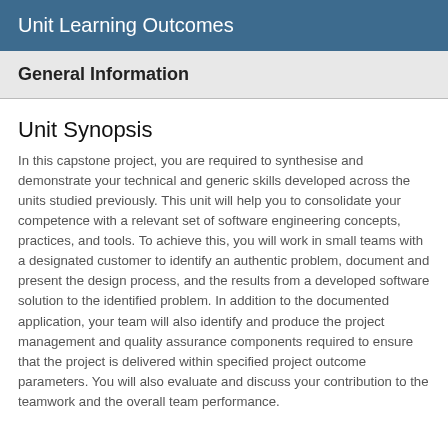Unit Learning Outcomes
General Information
Unit Synopsis
In this capstone project, you are required to synthesise and demonstrate your technical and generic skills developed across the units studied previously. This unit will help you to consolidate your competence with a relevant set of software engineering concepts, practices, and tools. To achieve this, you will work in small teams with a designated customer to identify an authentic problem, document and present the design process, and the results from a developed software solution to the identified problem. In addition to the documented application, your team will also identify and produce the project management and quality assurance components required to ensure that the project is delivered within specified project outcome parameters. You will also evaluate and discuss your contribution to the teamwork and the overall team performance.